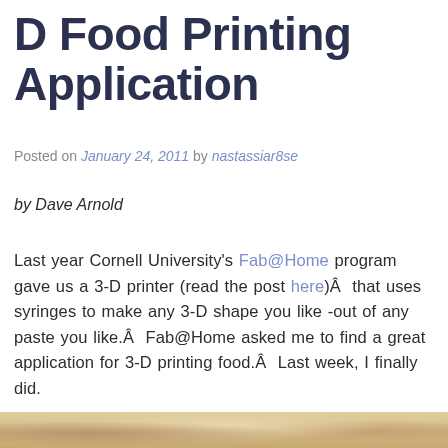D Food Printing Application
Posted on January 24, 2011 by nastassiar8se
by Dave Arnold
Last year Cornell University's Fab@Home program gave us a 3-D printer (read the post here)Â  that uses syringes to make any 3-D shape you like -out of any paste you like.Â  Fab@Home asked me to find a great application for 3-D printing food.Â  Last week, I finally did.
[Figure (photo): A cropped photo showing food items at the bottom of the page, partially visible.]